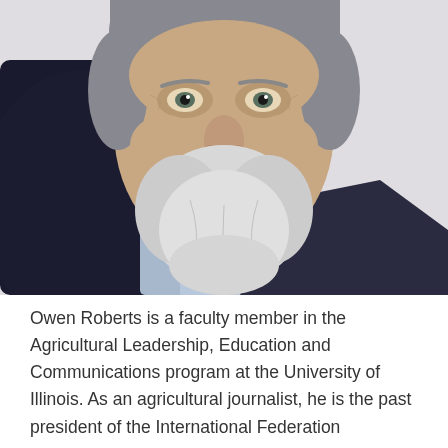[Figure (photo): Close-up portrait photo of an older white-haired man with a white mustache and beard, wearing a light blue shirt and dark jacket, photographed against a light background.]
Owen Roberts is a faculty member in the Agricultural Leadership, Education and Communications program at the University of Illinois. As an agricultural journalist, he is the past president of the International Federation